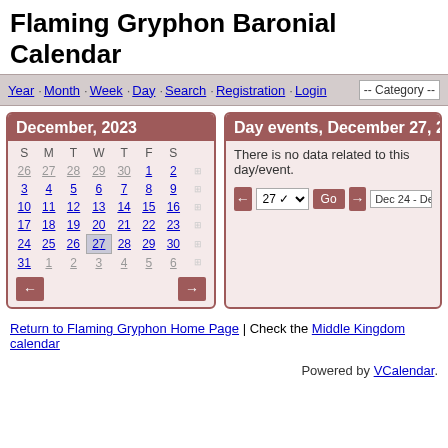Flaming Gryphon Baronial Calendar
Year · Month · Week · Day · Search · Registration · Login  -- Category --
December, 2023
| S | M | T | W | T | F | S |  |
| --- | --- | --- | --- | --- | --- | --- | --- |
| 26 | 27 | 28 | 29 | 30 | 1 | 2 | ☰ |
| 3 | 4 | 5 | 6 | 7 | 8 | 9 | ☰ |
| 10 | 11 | 12 | 13 | 14 | 15 | 16 | ☰ |
| 17 | 18 | 19 | 20 | 21 | 22 | 23 | ☰ |
| 24 | 25 | 26 | 27 | 28 | 29 | 30 | ☰ |
| 31 | 1 | 2 | 3 | 4 | 5 | 6 | ☰ |
Day events, December 27, 20...
There is no data related to this day/event.
← 27 ▾ Go → Dec 24 - Dec 3...
Return to Flaming Gryphon Home Page | Check the Middle Kingdom calendar
Powered by VCalendar.